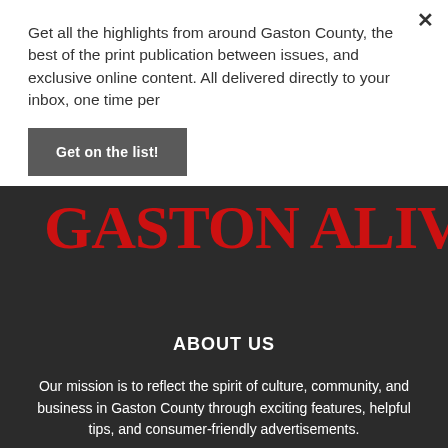Get all the highlights from around Gaston County, the best of the print publication between issues, and exclusive online content. All delivered directly to your inbox, one time per
Get on the list!
[Figure (logo): Gaston Alive Magazine logo in large red serif text on dark background with 'MAGAZINE' in small vertical text]
ABOUT US
Our mission is to reflect the spirit of culture, community, and business in Gaston County through exciting features, helpful tips, and consumer-friendly advertisements.